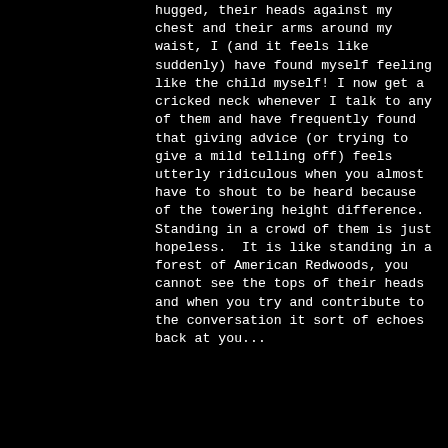hugged, their heads against my chest and their arms around my waist, I (and it feels like suddenly) have found myself feeling like the child myself! I now get a cricked neck whenever I talk to any of them and have frequently found that giving advice (or trying to give a mild telling off) feels utterly ridiculous when you almost have to shout to be heard because of the towering height difference. Standing in a crowd of them is just hopeless.  It is like standing in a forest of American Redwoods, you cannot see the tops of their heads and when you try and contribute to the conversation it sort of echoes back at you...